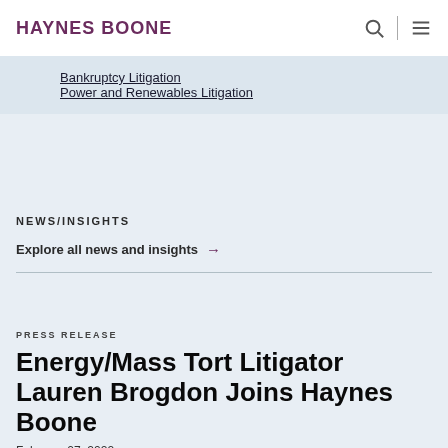HAYNES BOONE
Bankruptcy Litigation
Power and Renewables Litigation
NEWS/INSIGHTS
Explore all news and insights →
PRESS RELEASE
Energy/Mass Tort Litigator Lauren Brogdon Joins Haynes Boone
February 07, 2022